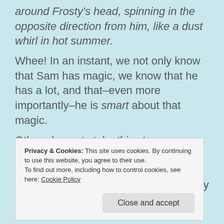around Frosty's head, spinning in the opposite direction from him, like a dust whirl in hot summer.
Whee! In an instant, we not only know that Sam has magic, we know that he has a lot, and that–even more importantly–he is smart about that magic.
Other elements take this story up a notch for me and, I think, for older readers (older than 8 or 9, AND older than me!) who might not be attracted by the cover.
Privacy & Cookies: This site uses cookies. By continuing to use this website, you agree to their use.
To find out more, including how to control cookies, see here: Cookie Policy
including some good guys, some bad guys, and a dragon. At times, that dragon narrative is further